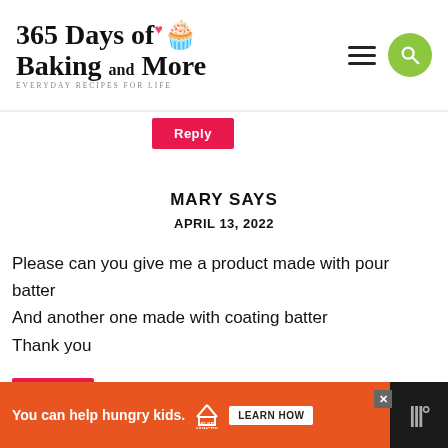365 Days of Baking and More — EVERYDAY RECIPES FOR LIFE
Reply
MARY SAYS
APRIL 13, 2022
Please can you give me a product made with pour batter
And another one made with coating batter
Thank you
Reply
LYNNE SAYS
You can help hungry kids.   LEARN HOW